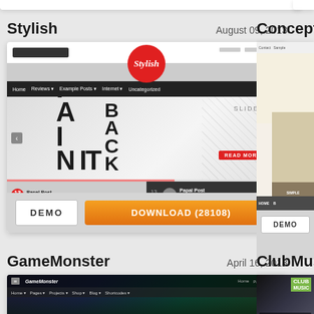Stylish
August 09, 2013
[Figure (screenshot): Screenshot of 'Stylish' WordPress theme showing a fashion website with models, navigation bar, red circular logo, and blog post thumbnails at the bottom]
DEMO
DOWNLOAD (28108)
Concept
[Figure (screenshot): Partial screenshot of 'Concept' WordPress theme showing a minimal design with beige/cream tones and HOME navigation]
DEMO
GameMonster
April 16, 2018
[Figure (screenshot): Screenshot of 'GameMonster' WordPress theme showing a dark gaming website with navigation bar]
ClubMusic
[Figure (screenshot): Partial screenshot of 'ClubMusic' WordPress theme showing dark background with CLUB MUSIC green text logo]